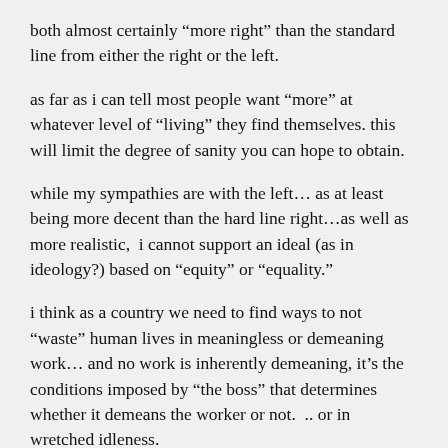both almost certainly “more right” than the standard line from either the right or the left.
as far as i can tell most people want “more” at whatever level of “living” they find themselves. this will limit the degree of sanity you can hope to obtain.
while my sympathies are with the left… as at least being more decent than the hard line right…as well as more realistic,  i cannot support an ideal (as in ideology?) based on “equity” or “equality.”
i think as a country we need to find ways to not “waste” human lives in meaningless or demeaning work… and no work is inherently demeaning, it’s the conditions imposed by “the boss” that determines whether it demeans the worker or not.  .. or in wretched idleness.